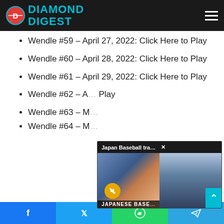Diamond Digest
Wendle #59 – April 27, 2022: Click Here to Play
Wendle #60 – April 28, 2022: Click Here to Play
Wendle #61 – April 29, 2022: Click Here to Play
Wendle #62 – A… Play
Wendle #63 – M…
Wendle #64 – M…
[Figure (screenshot): Video popup overlay showing 'Japan Baseball traditions that NEED to b...' with two video thumbnails side by side and a close button]
Facebook | Twitter | WhatsApp | Telegram share buttons